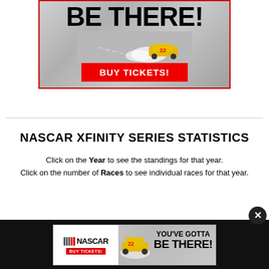[Figure (illustration): NASCAR advertisement banner with 'BE THERE!' text in large bold black letters, race cars with smoke, and a red 'BUY TICKETS!' button. Red and blue border around the ad.]
NASCAR XFINITY SERIES STATISTICS
Click on the Year to see the standings for that year.
Click on the number of Races to see individual races for that year.
[Figure (illustration): Bottom NASCAR advertisement banner on dark background: NASCAR logo with stripes, 'BUY TICKETS!' in red, race car image, 'YOU'VE GOTTA BE THERE!' text in bold black]